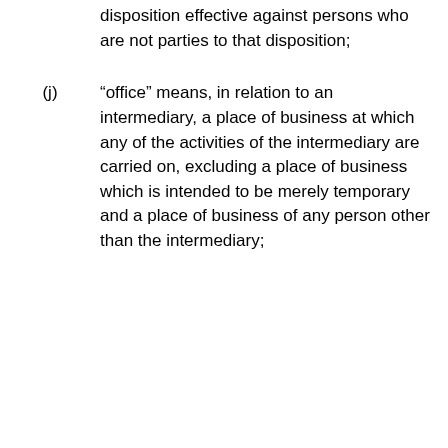disposition effective against persons who are not parties to that disposition;
(j) “office” means, in relation to an intermediary, a place of business at which any of the activities of the intermediary are carried on, excluding a place of business which is intended to be merely temporary and a place of business of any person other than the intermediary;